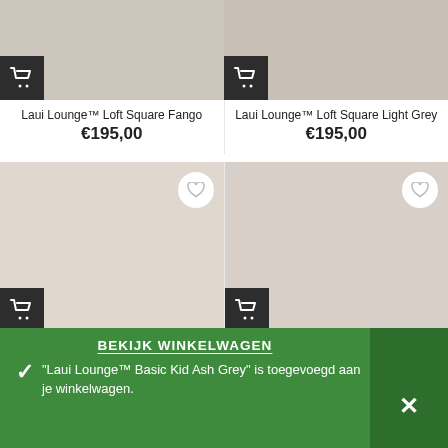[Figure (photo): Partial product image of Laui Lounge Loft Square Fango at top]
Laui Lounge™ Loft Square Fango
€195,00
[Figure (photo): Partial product image of Laui Lounge Loft Square Light Grey at top]
Laui Lounge™ Loft Square Light Grey
€195,00
[Figure (photo): Product image area for Laui Lounge Loft Square Saddle with cart icon and wishlist heart]
Laui Lounge™ Loft Square Saddle
€195,00
[Figure (photo): Product image area for Laui Lounge Loft Square Stone with cart icon and wishlist heart]
Laui Lounge™ Loft Square Stone
€195,00
BEKIJK WINKELWAGEN
"Laui Lounge™ Basic Kid Ash Grey" is toegevoegd aan je winkelwagen.